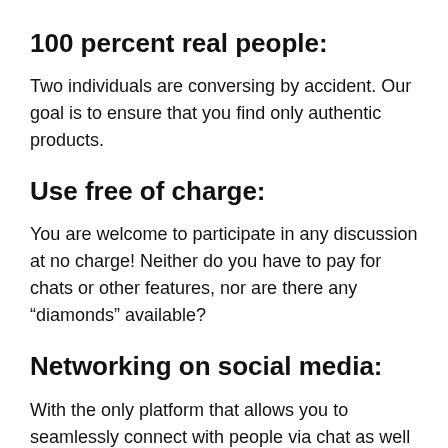100 percent real people:
Two individuals are conversing by accident. Our goal is to ensure that you find only authentic products.
Use free of charge:
You are welcome to participate in any discussion at no charge! Neither do you have to pay for chats or other features, nor are there any “diamonds” available?
Networking on social media:
With the only platform that allows you to seamlessly connect with people via chat as well as keep in touch with your new friends on the OmeTV social network,